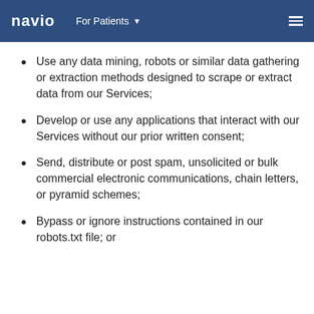navio   For Patients ˅
Use any data mining, robots or similar data gathering or extraction methods designed to scrape or extract data from our Services;
Develop or use any applications that interact with our Services without our prior written consent;
Send, distribute or post spam, unsolicited or bulk commercial electronic communications, chain letters, or pyramid schemes;
Bypass or ignore instructions contained in our robots.txt file; or